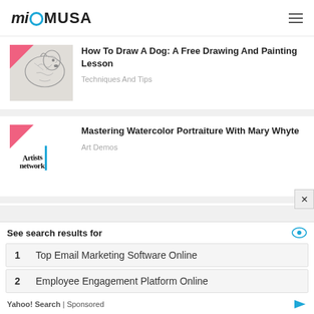miO MUSA
[Figure (screenshot): Article thumbnail: sketch of a dog]
How To Draw A Dog: A Free Drawing And Painting Lesson
Techniques And Tips
[Figure (screenshot): Article thumbnail: Artists Network logo]
Mastering Watercolor Portraiture With Mary Whyte
Art Demos
[Figure (screenshot): Article thumbnail: orange background with Artists Ask the text]
Can You Reproduce A Copyrighted Work In Another Painting?
See search results for
1  Top Email Marketing Software Online
2  Employee Engagement Platform Online
Yahoo! Search | Sponsored